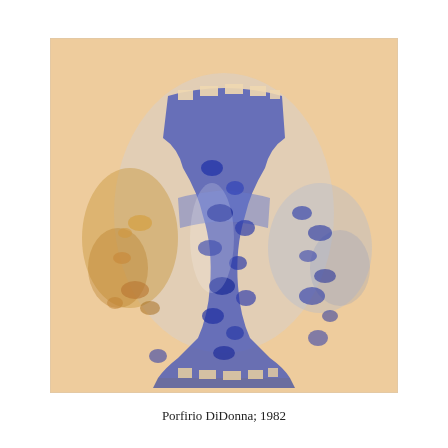[Figure (illustration): A watercolor painting of a vase-like hourglass-shaped form rendered in blue and purple tones on a warm peach/orange background. The central form is wide at top and bottom and pinched in the middle. It contains scattered blue oval/dot marks inside and around it. The background has warm orange-yellow and grey washes with scattered fragments.]
Porfirio DiDonna; 1982